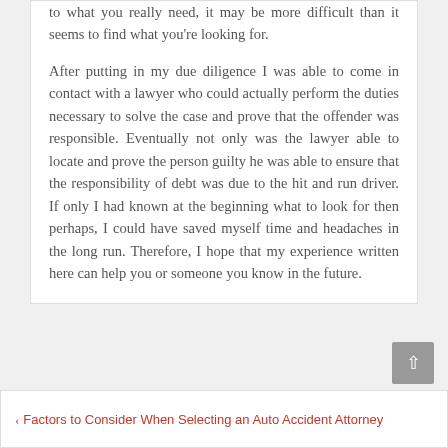to what you really need, it may be more difficult than it seems to find what you're looking for.
After putting in my due diligence I was able to come in contact with a lawyer who could actually perform the duties necessary to solve the case and prove that the offender was responsible. Eventually not only was the lawyer able to locate and prove the person guilty he was able to ensure that the responsibility of debt was due to the hit and run driver. If only I had known at the beginning what to look for then perhaps, I could have saved myself time and headaches in the long run. Therefore, I hope that my experience written here can help you or someone you know in the future.
‹ Factors to Consider When Selecting an Auto Accident Attorney